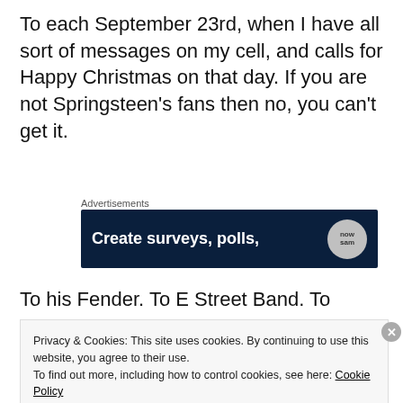To each September 23rd, when I have all sort of messages on my cell, and calls for Happy Christmas on that day. If you are not Springsteen's fans then no, you can't get it.
Advertisements
[Figure (other): Advertisement banner with dark navy background showing 'Create surveys, polls,' text and a circular logo on the right]
To his Fender. To E Street Band. To Danny. To
Privacy & Cookies: This site uses cookies. By continuing to use this website, you agree to their use.
To find out more, including how to control cookies, see here: Cookie Policy
[Close and accept button]